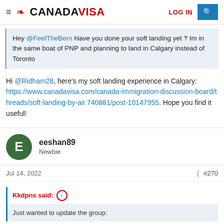CANADAVISA | LOG IN
Hey @FeelTheBern Have you done your soft landing yet ? Im in the same boat of PNP and planning to land in Calgary instead of Toronto
Hi @Ridham28, here's my soft landing experience in Calgary: https://www.canadavisa.com/canada-immigration-discussion-board/threads/soft-landing-by-air.740881/post-10147955. Hope you find it useful!
eeshan89
Newbie
Jul 14, 2022  #270
Kkdpns said:
Just wanted to update the group: